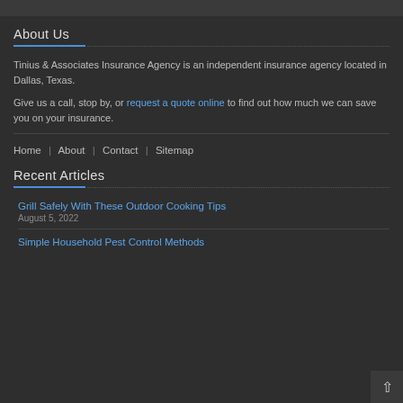About Us
Tinius & Associates Insurance Agency is an independent insurance agency located in Dallas, Texas.
Give us a call, stop by, or request a quote online to find out how much we can save you on your insurance.
Home | About | Contact | Sitemap
Recent Articles
Grill Safely With These Outdoor Cooking Tips
August 5, 2022
Simple Household Pest Control Methods